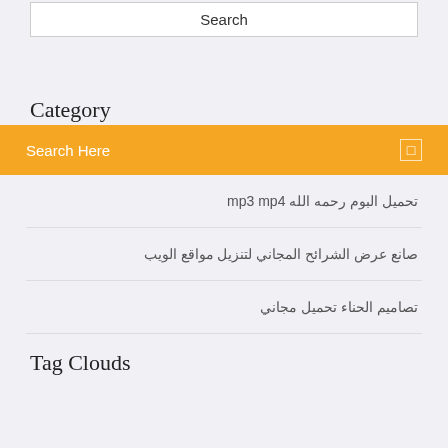Search
Category
Search Here
تحميل البوم رحمه الله mp3 mp4
صانع عرض الشرائح المجاني لتنزيل مواقع الويب
تصاميم الحناء تحميل مجاني
Tag Clouds